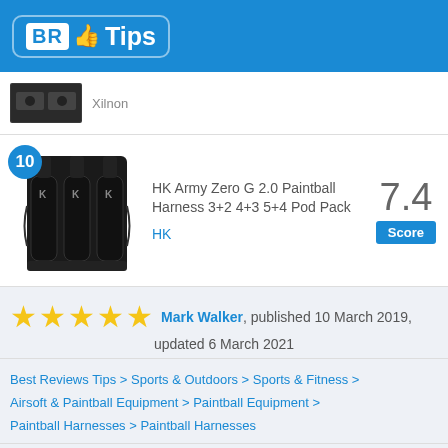BR Tips
[Figure (photo): Previous list item product image (charger/device)]
Xilnon
[Figure (photo): HK Army Zero G 2.0 Paintball Harness 3+2 4+3 5+4 Pod Pack product image with rank badge 10]
HK Army Zero G 2.0 Paintball Harness 3+2 4+3 5+4 Pod Pack
HK
7.4 Score
★★★★★ Mark Walker, published 10 March 2019, updated 6 March 2021
Best Reviews Tips > Sports & Outdoors > Sports & Fitness > Airsoft & Paintball Equipment > Paintball Equipment > Paintball Harnesses > Paintball Harnesses
Trending Paintball Harnesses Products